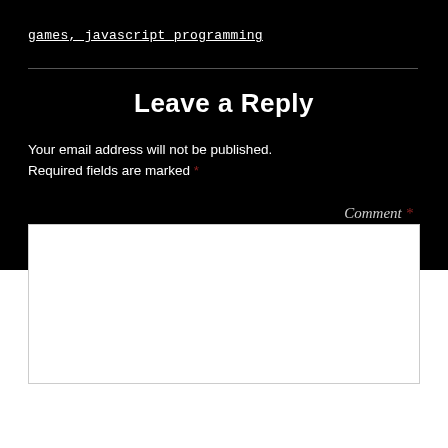games, javascript programming
Leave a Reply
Your email address will not be published. Required fields are marked *
Comment *
[Figure (other): White comment text input box area]